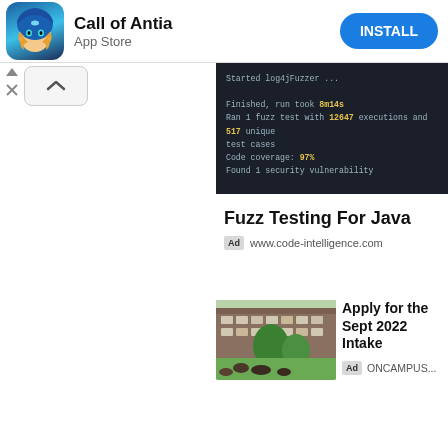[Figure (infographic): App store ad banner for 'Call of Antia' with game character illustration, App Store label, and blue INSTALL button]
[Figure (screenshot): Dark terminal/console screenshot showing fuzz testing output: Started log4jFuzzer ..., Finished, run took 8m14s, Ran 1 fuzz test with 12647 executions and 517 unique test cases, Code coverage: 97%, Found 1 security vulnerability]
Fuzz Testing For Java
Ad  www.code-intelligence.com
[Figure (photo): Photo of university campus with students sitting on grass in front of a brick building with trees]
Apply for the Sept 2022 Intake
Ad ONCAMPUS...